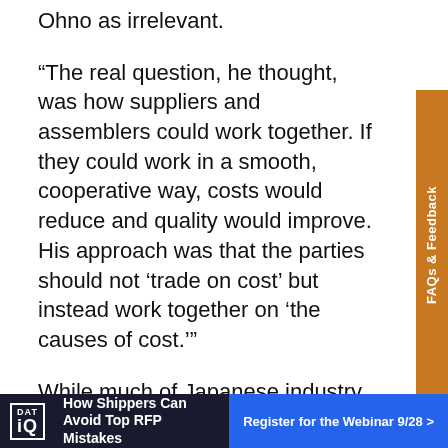Ohno as irrelevant.
“The real question, he thought, was how suppliers and assemblers could work together. If they could work in a smooth, cooperative way, costs would reduce and quality would improve. His approach was that the parties should not ‘trade on cost’ but instead work together on ‘the causes of cost.’”
While much of Japanese industry continued to implement Ford’s “few SKU” mass production model, Toyota began moving in an entirely different direction- and the U.S. supermarket presented an unlikely model to follow.
Toyota executives drew inspiration from watching how U.S. supermarkets restocked inventory to match
[Figure (other): Advertisement banner: DAT iQ logo on the left, text 'How Shippers Can Avoid Top RFP Mistakes' in center, blue button 'Register for the Webinar 9/28 >' on the right]
FAQs & Feedback (sidebar tab)